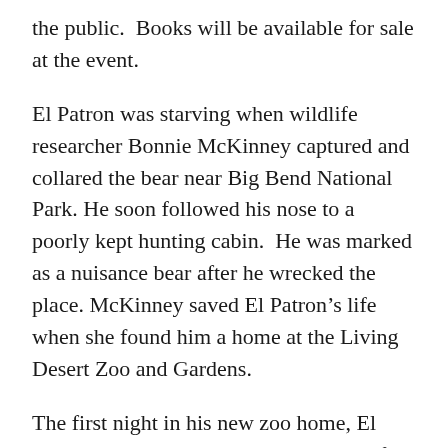the public.  Books will be available for sale at the event.
El Patron was starving when wildlife researcher Bonnie McKinney captured and collared the bear near Big Bend National Park. He soon followed his nose to a poorly kept hunting cabin.  He was marked as a nuisance bear after he wrecked the place. McKinney saved El Patron’s life when she found him a home at the Living Desert Zoo and Gardens.
The first night in his new zoo home, El Patron escaped, wandering the streets of Carlsbad with law enforcement in pursuit.  When his story became headline news, the citizens of Carlsbad rallied to save the outlaw bear.
Certain to captivate, El Patron’s story also provides readers the opportunity to learn more about black bears